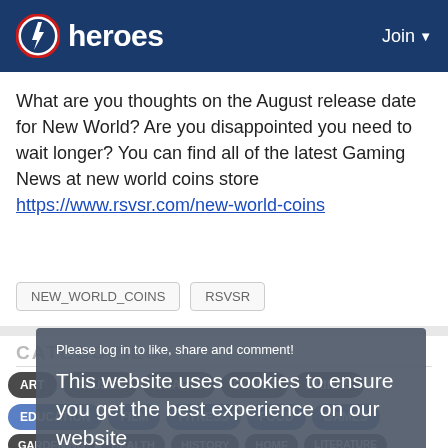heroes | Join
What are you thoughts on the August release date for New World? Are you disappointed you need to wait longer? You can find all of the latest Gaming News at new world coins store https://www.rsvsr.com/new-world-coins
NEW_WORLD_COINS
RSVSR
Please log in to like, share and comment!
This website uses cookies to ensure you get the best experience on our website
Learn More
Got it!
CATEGORIES
ART
CAUSES
CRAFTS
DANCE
DRINKS
EDUCATION
FILM
FITNESS
FOOD
GAMES
GARDENING
HEALTH
HISTORY
HOME
LITERATURE